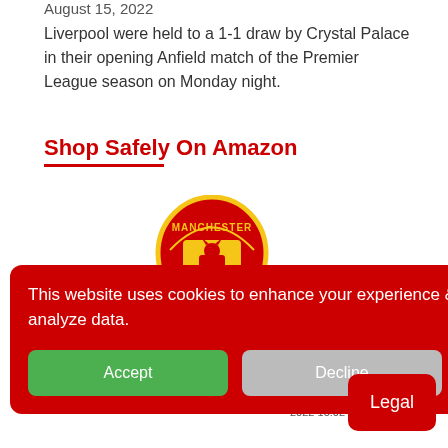August 15, 2022
Liverpool were held to a 1-1 draw by Crystal Palace in their opening Anfield match of the Premier League season on Monday night.
Shop Safely On Amazon
[Figure (logo): Manchester United football club crest/logo]
This website uses cookies to enhance your experience & analyze data.
Accept
Decline
ed TV
2022 13:02 GMT +00:0
Legal